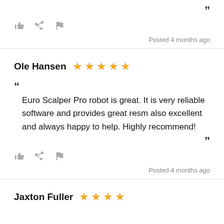”
[Figure (other): Action icons: thumbs up, share, flag]
Posted 4 months ago
Ole Hansen — 5 stars
“ Euro Scalper Pro robot is great. It is very reliable software and provides great resm also excellent and always happy to help. Highly recommend! ”
Posted 4 months ago
Jaxton Fuller — 4 stars (partial)